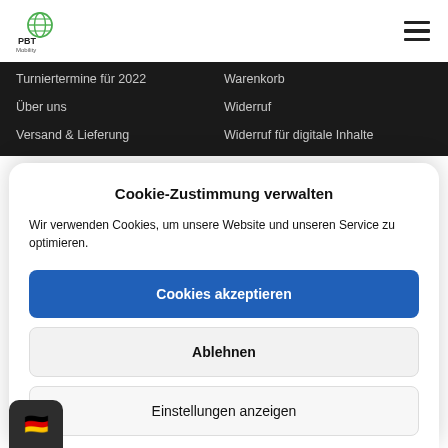[Figure (logo): PBT Mobility logo with globe icon in green and text PBT Mobility]
PBT Mobility website header with logo and hamburger menu
Turniertermine für 2022
Warenkorb
Über uns
Widerruf
Versand & Lieferung
Widerruf für digitale Inhalte
Cookie-Zustimmung verwalten
Wir verwenden Cookies, um unsere Website und unseren Service zu optimieren.
Cookies akzeptieren
Ablehnen
Einstellungen anzeigen